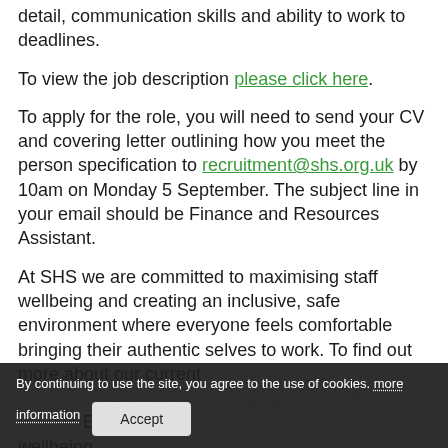detail, communication skills and ability to work to deadlines.
To view the job description please click here.
To apply for the role, you will need to send your CV and covering letter outlining how you meet the person specification to recruitment@shs.org.uk by 10am on Monday 5 September. The subject line in your email should be Finance and Resources Assistant.
At SHS we are committed to maximising staff wellbeing and creating an inclusive, safe environment where everyone feels comfortable bringing their authentic selves to work. To find out more about our current diversity, inclusion and belonging approach, please see our EDI & wellbeing document which you can find here.
By continuing to use the site, you agree to the use of cookies. more information Accept